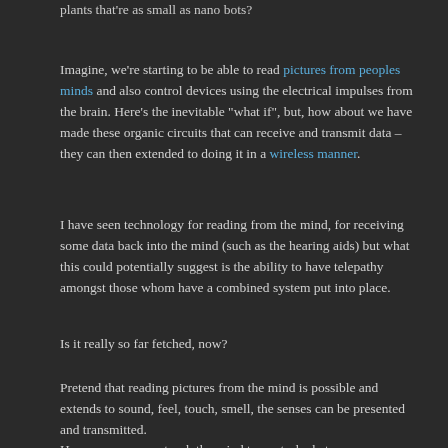plants that're as small as nano bots?
Imagine, we're starting to be able to read pictures from peoples minds and also control devices using the electrical impulses from the brain. Here's the inevitable "what if", but, how about we have made these organic circuits that can receive and transmit data – they can then extended to doing it in a wireless manner.
I have seen technology for reading from the mind, for receiving some data back into the mind (such as the hearing aids) but what this could potentially suggest is the ability to have telepathy amongst those whom have a combined system put into place.
Is it really so far fetched, now?
Pretend that reading pictures from the mind is possible and extends to sound, feel, touch, smell, the senses can be presented and transmitted.
How can you even teach the mind to control what you